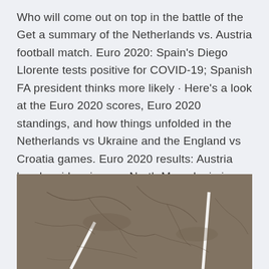Who will come out on top in the battle of the Get a summary of the Netherlands vs. Austria football match. Euro 2020: Spain's Diego Llorente tests positive for COVID-19; Spanish FA president thinks more likely · Here's a look at the Euro 2020 scores, Euro 2020 standings, and how things unfolded in the Netherlands vs Ukraine and the England vs Croatia games. Euro 2020 results: Austria brush aside minnows North Macedonia in dominant win Austria got their tournament off to a perfect start with a comfortable 3-1 win over first timers North Macedonia on Sunday.
[Figure (photo): A cracked pavement or road surface with two white line markings visible, photographed from above.]